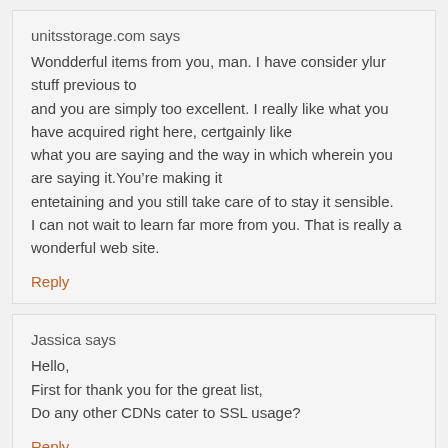unitsstorage.com says
Wondderful items from you, man. I have consider ylur stuff previous to and you are simply too excellent. I really like what you have acquired right here, certgainly like what you are saying and the way in which wherein you are saying it.You’re making it entetaining and you still take care of to stay it sensible. I can not wait to learn far more from you. That is really a wonderful web site.
Reply
Jassica says
Hello,
First for thank you for the great list,
Do any other CDNs cater to SSL usage?
Reply